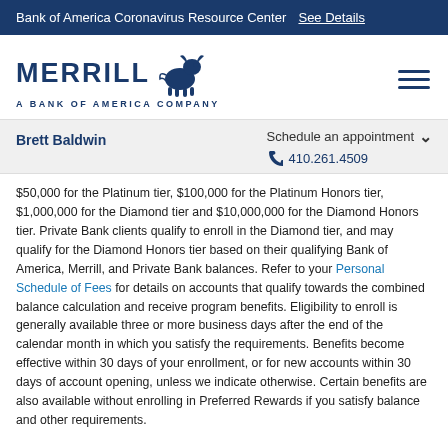Bank of America Coronavirus Resource Center  See Details
[Figure (logo): Merrill Lynch bull logo with text MERRILL A BANK OF AMERICA COMPANY]
Brett Baldwin
Schedule an appointment  410.261.4509
$50,000 for the Platinum tier, $100,000 for the Platinum Honors tier, $1,000,000 for the Diamond tier and $10,000,000 for the Diamond Honors tier. Private Bank clients qualify to enroll in the Diamond tier, and may qualify for the Diamond Honors tier based on their qualifying Bank of America, Merrill, and Private Bank balances. Refer to your Personal Schedule of Fees for details on accounts that qualify towards the combined balance calculation and receive program benefits. Eligibility to enroll is generally available three or more business days after the end of the calendar month in which you satisfy the requirements. Benefits become effective within 30 days of your enrollment, or for new accounts within 30 days of account opening, unless we indicate otherwise. Certain benefits are also available without enrolling in Preferred Rewards if you satisfy balance and other requirements.